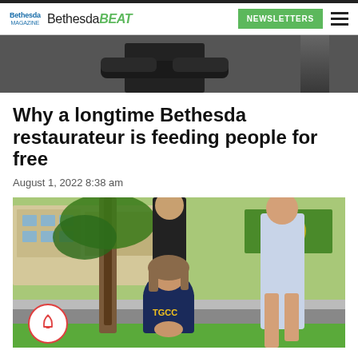Bethesda Bethesda BEAT | NEWSLETTERS
[Figure (photo): Top portion of a photo showing a person with arms crossed wearing a black long-sleeve shirt, cropped to show torso and arms only]
Why a longtime Bethesda restaurateur is feeding people for free
August 1, 2022 8:38 am
[Figure (photo): Outdoor photo of a woman in a navy blue TGCO shirt seated on grass beneath a tree, with two other people standing behind her, in front of what appears to be a middle school building]